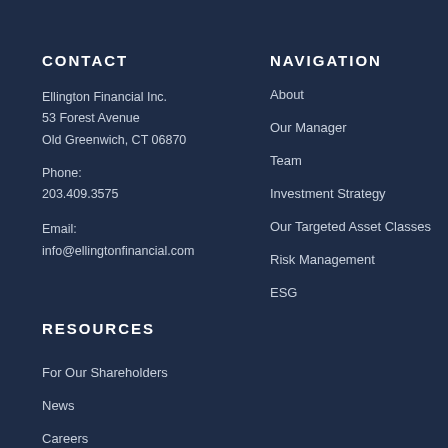CONTACT
Ellington Financial Inc.
53 Forest Avenue
Old Greenwich, CT 06870
Phone:
203.409.3575
Email:
info@ellingtonfinancial.com
NAVIGATION
About
Our Manager
Team
Investment Strategy
Our Targeted Asset Classes
Risk Management
ESG
RESOURCES
For Our Shareholders
News
Careers